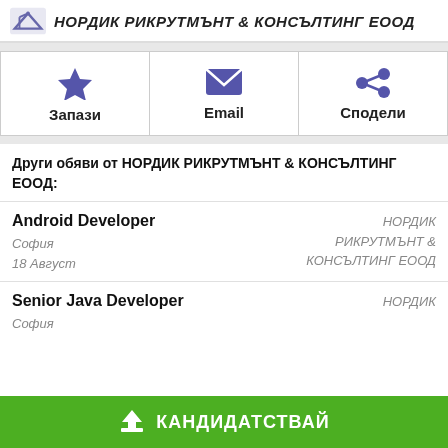НОРДИК РИКРУТМЪНТ & КОНСЪЛТИНГ ЕООД
| Запази | Email | Сподели |
| --- | --- | --- |
Други обяви от НОРДИК РИКРУТМЪНТ & КОНСЪЛТИНГ ЕООД:
Android Developer — София, 18 Август — НОРДИК РИКРУТМЪНТ & КОНСЪЛТИНГ ЕООД
Senior Java Developer — София — НОРДИК
КАНДИДАТСТВАЙ